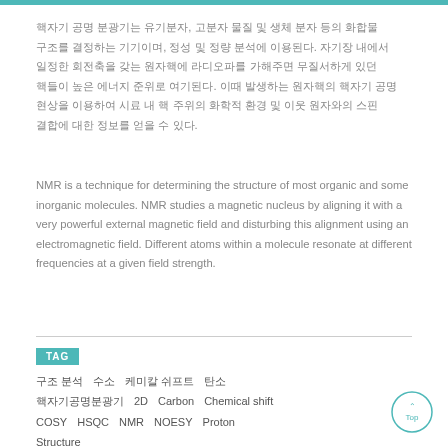핵자기 공명 분광기는 유기분자, 고분자 물질 및 생체 분자 등의 화합물 구조를 결정하는 기기이며, 정성 및 정량 분석에 이용된다. 자기장 내에서 일정한 회전축을 갖는 원자핵에 라디오파를 가해주면 무질서하게 있던 핵들이 높은 에너지 준위로 여기된다. 이때 발생하는 원자핵의 핵자기 공명 현상을 이용하여 시료 내 핵 주위의 화학적 환경 및 이웃 원자와의 스핀 결합에 대한 정보를 얻을 수 있다.
NMR is a technique for determining the structure of most organic and some inorganic molecules. NMR studies a magnetic nucleus by aligning it with a very powerful external magnetic field and disturbing this alignment using an electromagnetic field. Different atoms within a molecule resonate at different frequencies at a given field strength.
TAG
구조 분석   수소   케미칼 쉬프트   탄소   핵자기공명분광기   2D   Carbon   Chemical shift   COSY   HSQC   NMR   NOESY   Proton   Structure